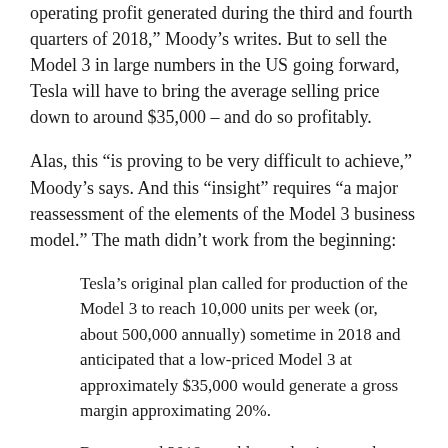operating profit generated during the third and fourth quarters of 2018,” Moody’s writes. But to sell the Model 3 in large numbers in the US going forward, Tesla will have to bring the average selling price down to around $35,000 – and do so profitably.
Alas, this “is proving to be very difficult to achieve,” Moody’s says. And this “insight” requires “a major reassessment of the elements of the Model 3 business model.” The math didn’t work from the beginning:
Tesla’s original plan called for production of the Model 3 to reach 10,000 units per week (or, about 500,000 annually) sometime in 2018 and anticipated that a low-priced Model 3 at approximately $35,000 would generate a gross margin approximating 20%.
By year-end 2018, weekly production was less than half of the originally-planned rate, and stood at approximately